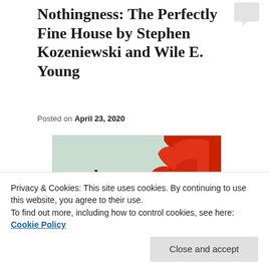Nothingness: The Perfectly Fine House by Stephen Kozeniewski and Wile E. Young
Posted on April 23, 2020
[Figure (illustration): Book cover for 'the perfectly fine house' showing decorative black text on a mint/sage green background with a large red flame behind the text]
Privacy & Cookies: This site uses cookies. By continuing to use this website, you agree to their use.
To find out more, including how to control cookies, see here:
Cookie Policy